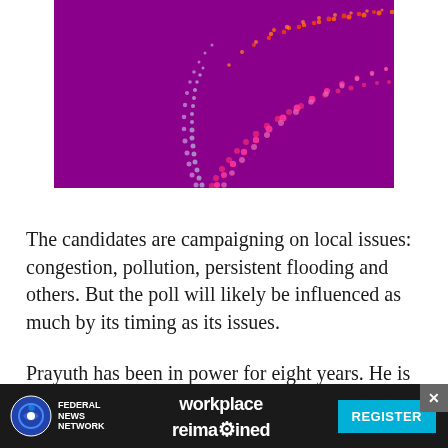[Figure (illustration): Abstract data visualization on a purple background featuring arching dotted lines in pink, magenta, orange, and lavender colors rising from the bottom and fanning outward]
The candidates are campaigning on local issues: congestion, pollution, persistent flooding and others. But the poll will likely be influenced as much by its timing as its issues.
Prayuth has been in power for eight years. He is expected soon to face a no-confidence motion in Parliament, and rivals on his own side have long been
[Figure (infographic): Advertisement banner for Federal News Network: 'workplace reimagined' with a REGISTER button in cyan]